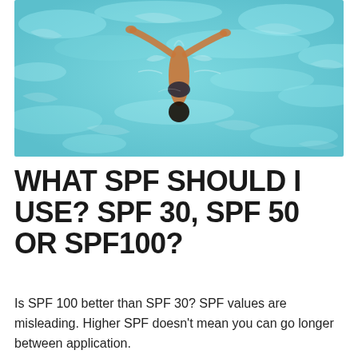[Figure (photo): Aerial view of a person swimming in a light blue pool, photographed from directly above. The swimmer is seen from above with arms extended, with the turquoise water showing light reflections and ripples around them.]
WHAT SPF SHOULD I USE? SPF 30, SPF 50 OR SPF100?
Is SPF 100 better than SPF 30? SPF values are misleading. Higher SPF doesn't mean you can go longer between application.